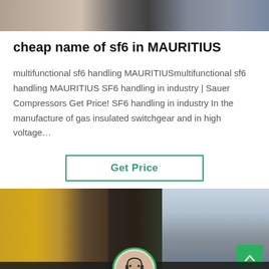[Figure (photo): Top partial image showing people or industrial scene, cropped at top of page]
cheap name of sf6 in MAURITIUS
multifunctional sf6 handling MAURITIUSmultifunctional sf6 handling MAURITIUS SF6 handling in industry | Sauer Compressors Get Price! SF6 handling in industry In the manufacture of gas insulated switchgear and in high voltage…
[Figure (other): Get Price button with green border]
[Figure (photo): Bottom composite photo showing yellow industrial equipment on left and electrical power infrastructure on right, with chat bar overlay at bottom showing Leave Message and Chat Online options with agent avatar]